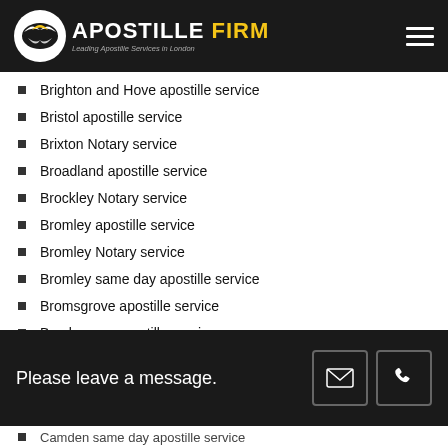APOSTILLE FIRM — Leading Apostille Services in London
Brighton and Hove apostille service
Bristol apostille service
Brixton Notary service
Broadland apostille service
Brockley Notary service
Bromley apostille service
Bromley Notary service
Bromley same day apostille service
Bromsgrove apostille service
Broxbourne apostille service
Burnley apostille service
Bury apostille service
Business document apostille
Please leave a message.
Camden same day apostille service